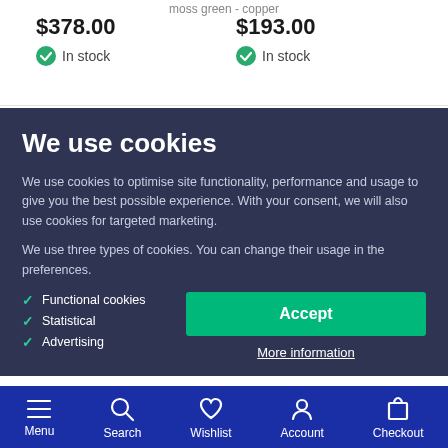moss green - copper
$378.00
In stock
$193.00
In stock
We use cookies
We use cookies to optimise site functionality, performance and usage to give you the best possible experience. With your consent, we will also use cookies for targeted marketing.
We use three types of cookies. You can change their usage in the preferences.
Functional cookies
Statistical
Advertising
Accept
More information
Menu  Search  Wishlist  Account  Checkout